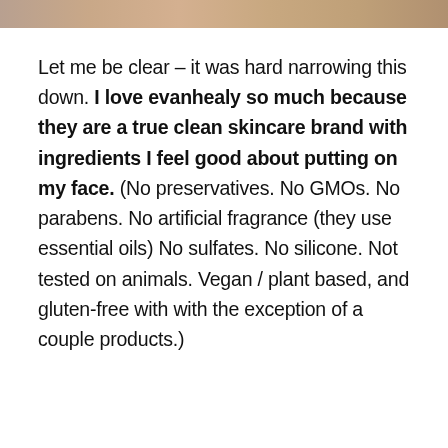[Figure (photo): Cropped photo strip at the top of the page showing partial product/person imagery]
Let me be clear – it was hard narrowing this down. I love evanhealy so much because they are a true clean skincare brand with ingredients I feel good about putting on my face. (No preservatives. No GMOs. No parabens. No artificial fragrance (they use essential oils) No sulfates. No silicone. Not tested on animals. Vegan / plant based, and gluten-free with with the exception of a couple products.)